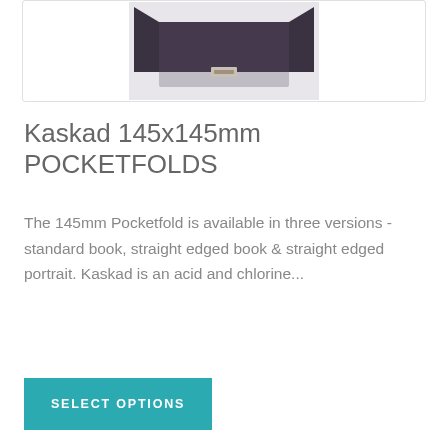[Figure (photo): Dark purple/grey pocketfold card shown open from above against a white/light grey background]
Kaskad 145x145mm POCKETFOLDS
The 145mm Pocketfold is available in three versions - standard book, straight edged book & straight edged portrait. Kaskad is an acid and chlorine...
SELECT OPTIONS
[Figure (photo): Cream/ivory coloured pocketfold cards and envelopes arranged on a light background]